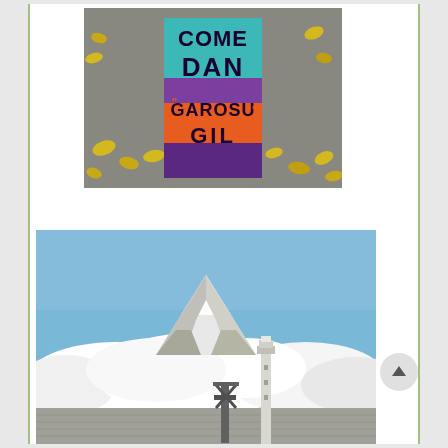[Figure (photo): Graffiti art on a concrete pillar or bollard showing colorful street art with text reading 'GAROSU GIL' in black lettering on purple, teal, and orange background. Fallen yellow ginkgo leaves visible on the ground around the base.]
[Figure (photo): Photograph of Mount Fuji with snow-capped peak visible above white clouds against a blue sky. In the foreground is a rooftop with a metal railing structure and a lighthouse or signal tower. Appears to be taken from a seaside or harbor area.]